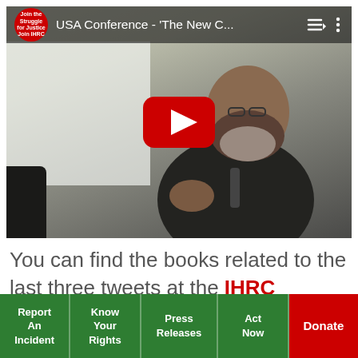[Figure (screenshot): YouTube video thumbnail showing a bearded man speaking at a conference, with title 'USA Conference - The New C...' and a red play button overlay. IHRC logo in top left corner.]
You can find the books related to the last three tweets at the IHRC Bookshop on offer right now.  Please share this thread.
Report An Incident | Know Your Rights | Press Releases | Act Now | Donate